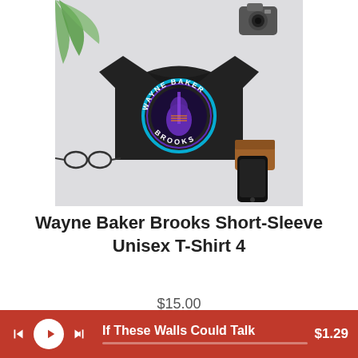[Figure (photo): Black t-shirt with Wayne Baker Brooks logo design (circular neon guitar design with text WAYNE BAKER BROOKS), displayed flat on white surface with glasses, camera, phone, and wallet accessories]
Wayne Baker Brooks Short-Sleeve Unisex T-Shirt 4
$15.00
[Figure (photo): Black hoodie top portion visible, partially cropped at bottom of page]
If These Walls Could Talk  $1.29